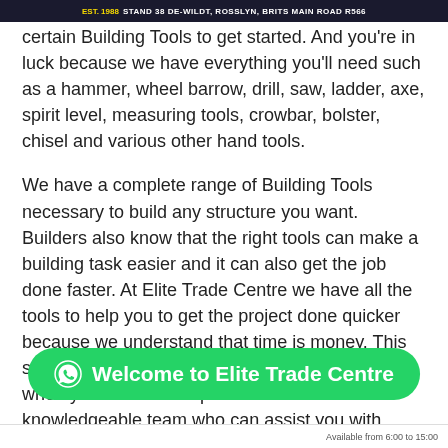EST. 1988  STAND 38 DE-WILDT, ROSSLYN, BRITS MAIN ROAD R566
certain Building Tools to get started. And you're in luck because we have everything you'll need such as a hammer, wheel barrow, drill, saw, ladder, axe, spirit level, measuring tools, crowbar, bolster, chisel and various other hand tools.
We have a complete range of Building Tools necessary to build any structure you want. Builders also know that the right tools can make a building task easier and it can also get the job done faster. At Elite Trade Centre we have all the tools to help you to get the project done quicker because we understand that time is money. This selection of tools is available at your fingertips when you visit our shop. Plus we have a knowledgeable team who can assist you with finding the tools that you need. They can also give you guidance as to which tools will do the job done better. And isn't that what you need? A o... your building needs and can help you with your next project.
[Figure (other): WhatsApp chat button with text: Welcome to Elite Trade Centre]
Available from 6:00 to 15:00